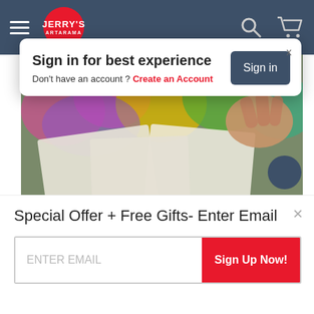[Figure (screenshot): Jerry's Artarama website navigation bar with hamburger menu, red circular logo, search icon, and cart icon on dark blue background]
Sign in for best experience
Don't have an account ? Create an Account
Sign in
[Figure (photo): Close-up photo of hands working with pastel paints on paper, colorful art supplies visible]
About Suspended Pastel Painting in Pastels
Join professional artist Christine MacLellan for an exciting Free Video Art Lesson demonstrati...
Special Offer + Free Gifts- Enter Email
ENTER EMAIL
Sign Up Now!